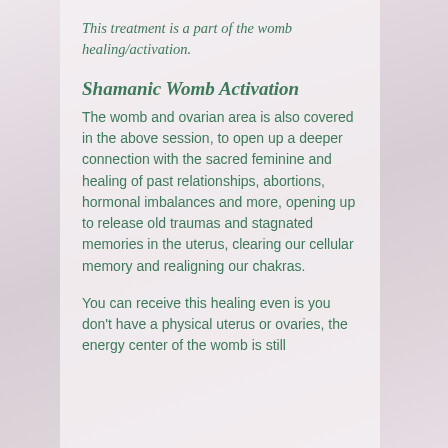This treatment is a part of the womb healing/activation.
Shamanic Womb Activation
The womb and ovarian area is also covered in the above session, to open up a deeper connection with the sacred feminine and healing of past relationships, abortions, hormonal imbalances and more, opening up to release old traumas and stagnated memories in the uterus, clearing our cellular memory and realigning our chakras.
You can receive this healing even is you don't have a physical uterus or ovaries, the energy center of the womb is still